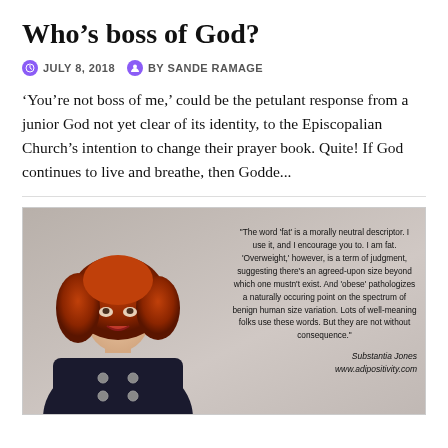Who’s boss of God?
JULY 8, 2018   BY SANDE RAMAGE
‘You’re not boss of me,’ could be the petulant response from a junior God not yet clear of its identity, to the Episcopalian Church’s intention to change their prayer book. Quite! If God continues to live and breathe, then Godde...
[Figure (photo): A woman with curly red hair wearing a dark jacket, with a text overlay quote by Substantia Jones from www.adipositivity.com about the word 'fat' being a morally neutral descriptor.]